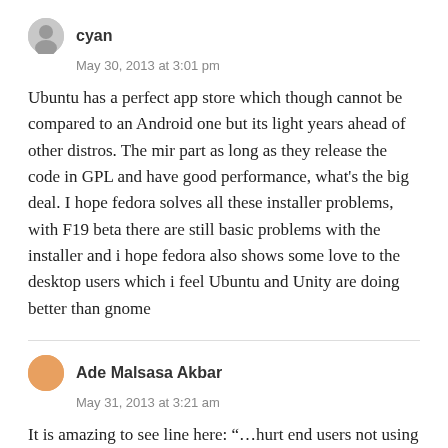cyan
May 30, 2013 at 3:01 pm
Ubuntu has a perfect app store which though cannot be compared to an Android one but its light years ahead of other distros. The mir part as long as they release the code in GPL and have good performance, what's the big deal. I hope fedora solves all these installer problems, with F19 beta there are still basic problems with the installer and i hope fedora also shows some love to the desktop users which i feel Ubuntu and Unity are doing better than gnome
Ade Malsasa Akbar
May 31, 2013 at 3:21 am
It is amazing to see line here: “…hurt end users not using the command line…”. This shows your